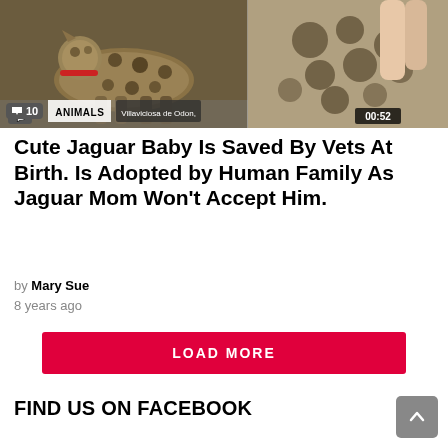[Figure (photo): Two-panel image: left panel shows a baby jaguar with spotted coat and red collar on a surface; right panel shows close-up of jaguar spots being touched by human hands. Overlays show comment count '10', tag 'ANIMALS', location 'Villaviciosa de Odon,', and timer '00:52'.]
Cute Jaguar Baby Is Saved By Vets At Birth. Is Adopted by Human Family As Jaguar Mom Won't Accept Him.
by Mary Sue
8 years ago
LOAD MORE
FIND US ON FACEBOOK